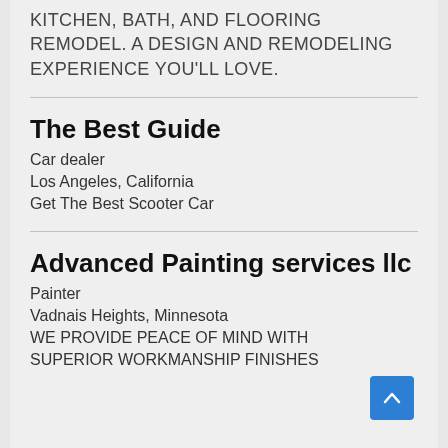KITCHEN, BATH, AND FLOORING REMODEL. A DESIGN AND REMODELING EXPERIENCE YOU'LL LOVE.
The Best Guide
Car dealer
Los Angeles, California
Get The Best Scooter Car
Advanced Painting services llc
Painter
Vadnais Heights, Minnesota
WE PROVIDE PEACE OF MIND WITH SUPERIOR WORKMANSHIP FINISHES